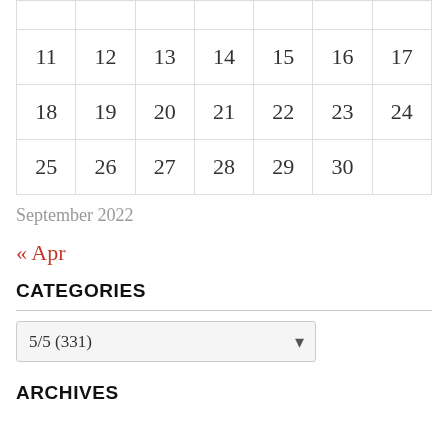| 11 | 12 | 13 | 14 | 15 | 16 | 17 |
| 18 | 19 | 20 | 21 | 22 | 23 | 24 |
| 25 | 26 | 27 | 28 | 29 | 30 |  |
September 2022
« Apr
CATEGORIES
5/5  (331)
ARCHIVES